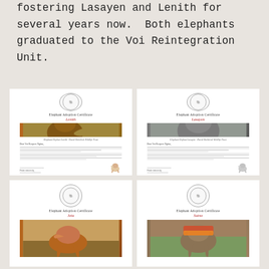fostering Lasayen and Lenith for several years now. Both elephants graduated to the Voi Reintegration Unit.
[Figure (illustration): Elephant Adoption Certificate for Lenith - document thumbnail showing circular logo, title 'Elephant Adoption Certificate', name 'Lenith' in red, photo of baby elephant with trunk raised, caption text, body letter text, signature area, and small elephant watermark.]
[Figure (illustration): Elephant Adoption Certificate for Lasayen - document thumbnail showing circular logo, title 'Elephant Adoption Certificate', name 'Lasayen' in red, close-up photo of elephant head, caption text, body letter text, signature area, and small elephant watermark.]
[Figure (illustration): Elephant Adoption Certificate for Jeta - document thumbnail showing circular logo, title 'Elephant Adoption Certificate', name 'Jeta' in red, photo of elephant walking, body cut off at bottom of page.]
[Figure (illustration): Elephant Adoption Certificate for Sutno - document thumbnail showing circular logo, title 'Elephant Adoption Certificate', name 'Sutno' in red, photo of elephant with colorful blanket, body cut off at bottom of page.]